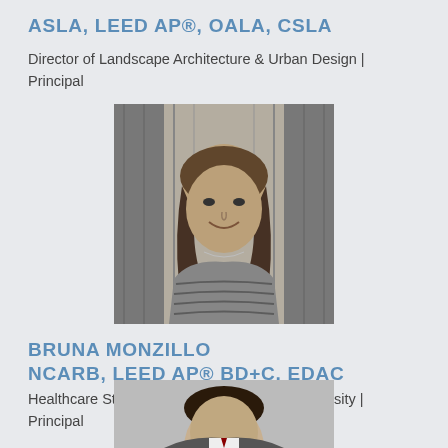ASLA, LEED AP®, OALA, CSLA
Director of Landscape Architecture & Urban Design | Principal
[Figure (photo): Black and white portrait photo of a woman with long hair, smiling, in front of an ornate architectural background]
BRUNA MONZILLO
NCARB, LEED AP® BD+C, EDAC
Healthcare Strategy Manager | Director of Diversity | Principal
[Figure (photo): Black and white portrait photo of a man, partially visible at bottom of page]